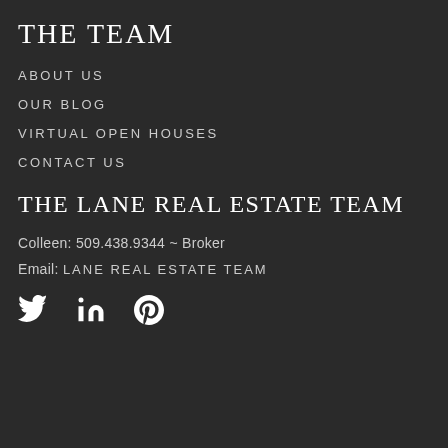THE TEAM
ABOUT US
OUR BLOG
VIRTUAL OPEN HOUSES
CONTACT US
THE LANE REAL ESTATE TEAM
Colleen: 509.438.9344 ~ Broker
Email: LANE REAL ESTATE TEAM
[Figure (other): Social media icons: Twitter (bird), LinkedIn (in), Pinterest (P circle)]